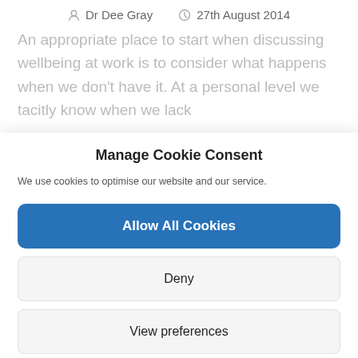Dr Dee Gray   27th August 2014
An appropriate place to start when discussing wellbeing at work is to consider what happens when we don't have it. At a personal level we tacitly know when we lack
Manage Cookie Consent
We use cookies to optimise our website and our service.
Allow All Cookies
Deny
View preferences